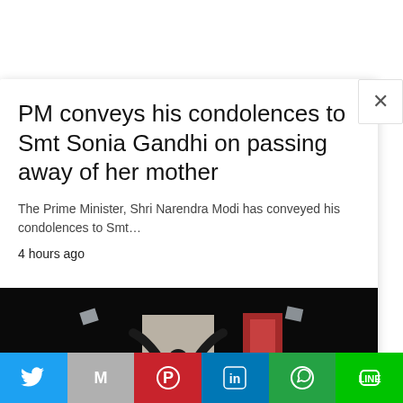PM conveys his condolences to Smt Sonia Gandhi on passing away of her mother
The Prime Minister, Shri Narendra Modi has conveyed his condolences to Smt…
4 hours ago
[Figure (photo): Dark interior photo showing a silhouette of a person with arms raised in a doorway, with a red-framed window visible to the right, mostly black background with a scroll-to-top button overlay]
[Figure (infographic): Social sharing bar with Twitter (blue), Gmail (grey), Pinterest (red), LinkedIn (blue), WhatsApp (green), Line (green) buttons]